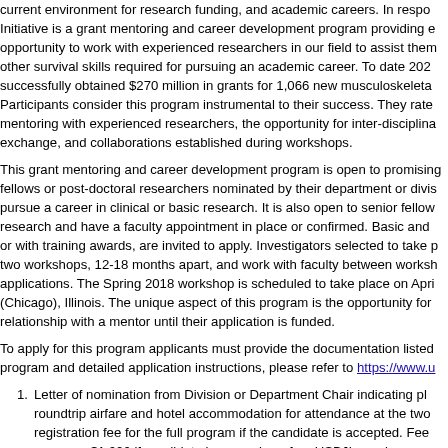current environment for research funding, and academic careers. In response, the Initiative is a grant mentoring and career development program providing early-stage opportunity to work with experienced researchers in our field to assist them and other survival skills required for pursuing an academic career. To date 202 successfully obtained $270 million in grants for 1,066 new musculoskeletal Participants consider this program instrumental to their success. They rate mentoring with experienced researchers, the opportunity for inter-disciplinary exchange, and collaborations established during workshops.
This grant mentoring and career development program is open to promising fellows or post-doctoral researchers nominated by their department or division to pursue a career in clinical or basic research. It is also open to senior fellows in research and have a faculty appointment in place or confirmed. Basic and or with training awards, are invited to apply. Investigators selected to take part in two workshops, 12-18 months apart, and work with faculty between workshops on applications. The Spring 2018 workshop is scheduled to take place on April (Chicago), Illinois. The unique aspect of this program is the opportunity for relationship with a mentor until their application is funded.
To apply for this program applicants must provide the documentation listed program and detailed application instructions, please refer to https://www.u
Letter of nomination from Division or Department Chair indicating pl roundtrip airfare and hotel accommodation for attendance at the two registration fee for the full program if the candidate is accepted. Fees program; $1,000 if candidate is a member of an USBJI member organization non-members. Click here for listing of USBJI Founding Members and The full program includes two Young Investigator workshops, with p days at each workshop.
Letter of support from institutional research mentor.
One or two-page document with program title, specific aims and out